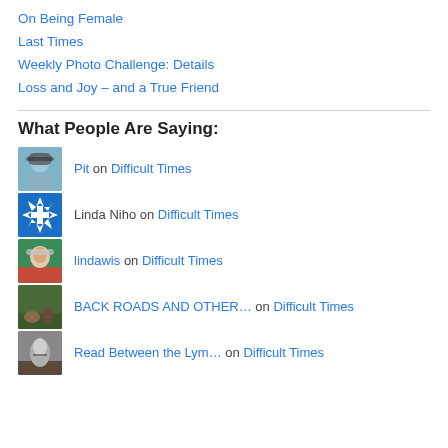On Being Female
Last Times
Weekly Photo Challenge: Details
Loss and Joy – and a True Friend
What People Are Saying:
Pit on Difficult Times
Linda Niho on Difficult Times
lindawis on Difficult Times
BACK ROADS AND OTHER… on Difficult Times
Read Between the Lym… on Difficult Times